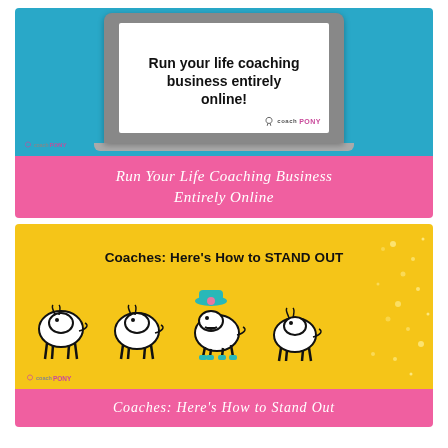[Figure (illustration): Screenshot card showing a laptop on blue background with text 'Run your life coaching business entirely online!' and CoachPony logo, with pink banner underneath reading 'Run Your Life Coaching Business Entirely Online']
Run Your Life Coaching Business Entirely Online
[Figure (illustration): Card on yellow/gold background with text 'Coaches: Here's How to STAND OUT' and cartoon horse illustrations including one wearing a teal hat and boots, CoachPony logo, with pink banner underneath]
Coaches: Here's How to Stand Out